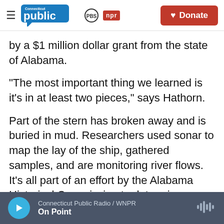Connecticut Public | PBS | NPR — Donate
by a $1 million dollar grant from the state of Alabama.
"The most important thing we learned is it's in at least two pieces," says Hathorn.
Part of the stern has broken away and is buried in mud. Researchers used sonar to map the lay of the ship, gathered samples, and are monitoring river flows. It's all part of an effort by the Alabama Historical Commission to determine whether it's feasible to raise the vessel.
Connecticut Public Radio / WNPR — On Point